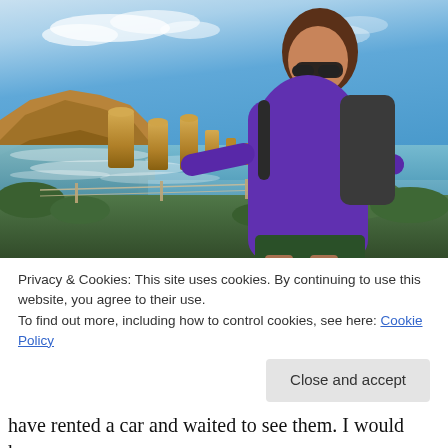[Figure (photo): A woman in a purple long-sleeve top and sunglasses, carrying a backpack, standing at a scenic overlook at the Twelve Apostles on the Great Ocean Road, Australia. The limestone rock stacks rise from the ocean in the background under a blue sky with light clouds.]
Privacy & Cookies: This site uses cookies. By continuing to use this website, you agree to their use.
To find out more, including how to control cookies, see here: Cookie Policy
Close and accept
have rented a car and waited to see them. I would have